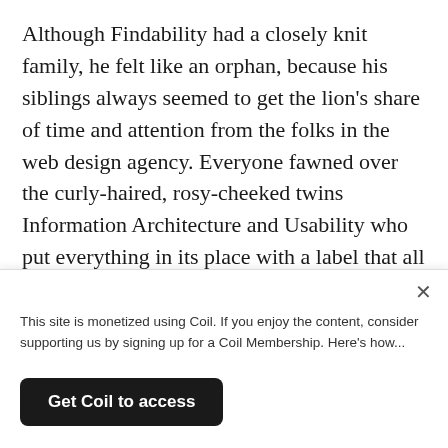Although Findability had a closely knit family, he felt like an orphan, because his siblings always seemed to get the lion's share of time and attention from the folks in the web design agency. Everyone fawned over the curly-haired, rosy-cheeked twins Information Architecture and Usability who put everything in its place with a label that all would understand. Project Management garnered everyone's respect for his deft communication, confident leadership, and his well-pressed, khaki trousers. Although Development was a little nerdy and shy, everyone admired
This site is monetized using Coil. If you enjoy the content, consider supporting us by signing up for a Coil Membership. Here's how...
Get Coil to access